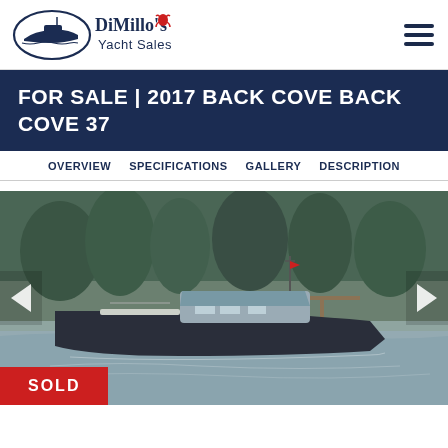DiMillo's Yacht Sales
FOR SALE | 2017 BACK COVE BACK COVE 37
OVERVIEW   SPECIFICATIONS   GALLERY   DESCRIPTION
[Figure (photo): Photo of a 2017 Back Cove 37 yacht on water with a SOLD badge in the lower left corner. Left and right navigation arrows flank the image.]